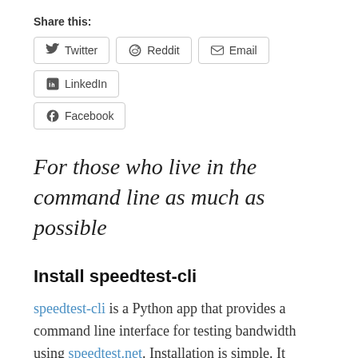Share this:
Twitter  Reddit  Email  LinkedIn  Facebook
For those who live in the command line as much as possible
Install speedtest-cli
speedtest-cli is a Python app that provides a command line interface for testing bandwidth using speedtest.net. Installation is simple. It should work on Linux and OS X.
The Bash Scripts
The data goes to speedtest.sh and